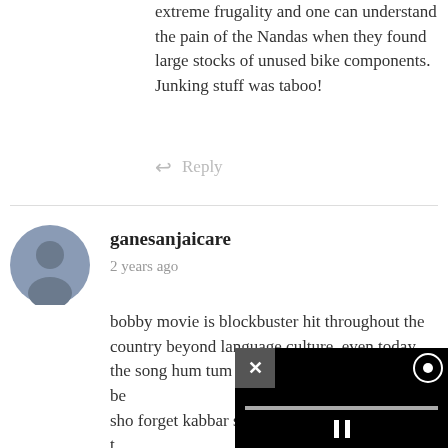extreme frugality and one can understand the pain of the Nandas when they found large stocks of unused bike components. Junking stuff was taboo!
↩ Reply
[Figure (illustration): Generic user avatar — grey silhouette of a person on a blue-grey circular background]
ganesanjaicare
2 years ago
bobby movie is blockbuster hit throughout the country beyond language culture .even today the song hum tum can be [video overlay] success.bobby and sho[video overlay] forget kabbar singh.th[video overlay] show involvement in t[video overlay]
[Figure (screenshot): Black video player overlay with close (X) button top-left, settings icon top-right, a progress bar, and a pause button]